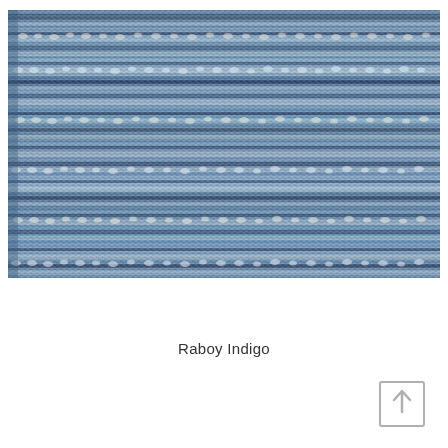[Figure (photo): Close-up photograph of a woven textile fabric in indigo/blue tones with white, cream, and dark navy threads creating a horizontal striped weave pattern. The fabric shows a dense, textured surface with varying shades of blue, teal, and white.]
Raboy Indigo